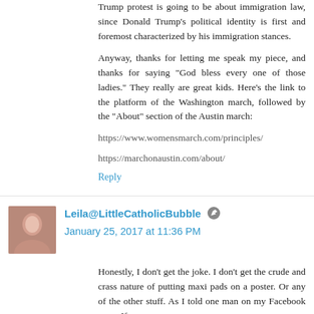Trump protest is going to be about immigration law, since Donald Trump's political identity is first and foremost characterized by his immigration stances.
Anyway, thanks for letting me speak my piece, and thanks for saying "God bless every one of those ladies." They really are great kids. Here's the link to the platform of the Washington march, followed by the "About" section of the Austin march:
https://www.womensmarch.com/principles/
https://marchonaustin.com/about/
Reply
Leila@LittleCatholicBubble January 25, 2017 at 11:36 PM
Honestly, I don't get the joke. I don't get the crude and crass nature of putting maxi pads on a poster. Or any of the other stuff. As I told one man on my Facebook page: If you